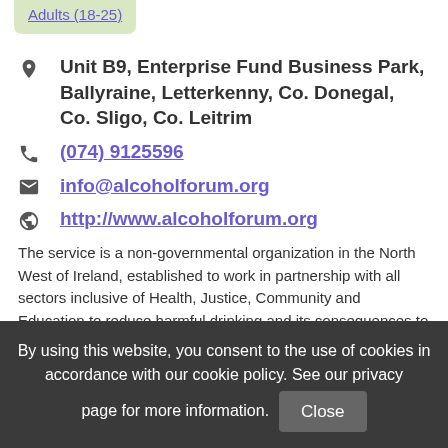Adults (18-25)
Unit B9, Enterprise Fund Business Park, Ballyraine, Letterkenny, Co. Donegal, Co. Sligo, Co. Leitrim
(074) 9125596
info@alcoholforum.org
http://www.alcoholforum.org
The service is a non-governmental organization in the North West of Ireland, established to work in partnership with all sectors inclusive of Health, Justice, Community and Education to reduce harmful drinking and its consequences to the individual, the family and the community
By using this website, you consent to the use of cookies in accordance with our cookie policy. See our privacy page for more information. Close